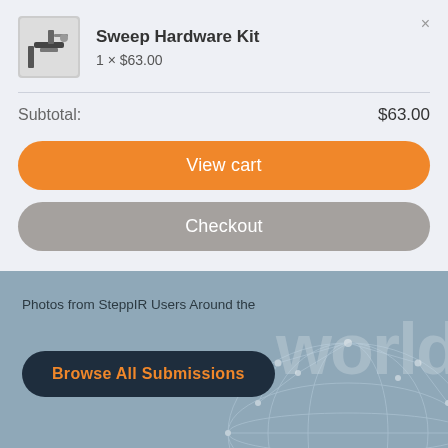Sweep Hardware Kit
1 × $63.00
Subtotal: $63.00
View cart
Checkout
Photos from SteppIR Users Around the
world
Browse All Submissions